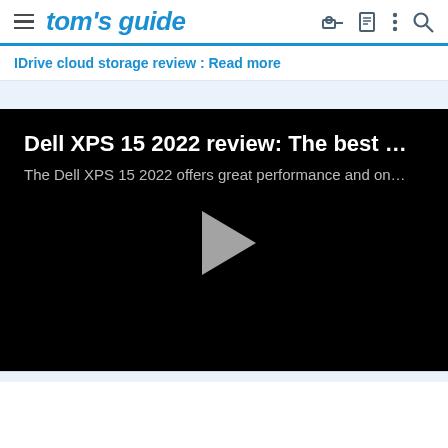tom's guide
IDrive cloud storage review : Read more
[Figure (screenshot): Video player with black background showing Dell XPS 15 2022 review title, description, and a play button. Title: 'Dell XPS 15 2022 review: The best ...' Description: 'The Dell XPS 15 2022 offers great performance and on...']